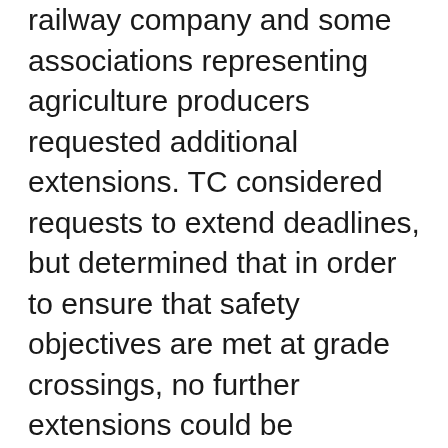railway company and some associations representing agriculture producers requested additional extensions. TC considered requests to extend deadlines, but determined that in order to ensure that safety objectives are met at grade crossings, no further extensions could be provided. TC has concluded that upgrades need to be completed as soon as possible to help reduce and prevent loss of life, serious injuries, and serious property damages. The amendments to the Regulations already extend the compliance deadlines for upgrades by one year (until